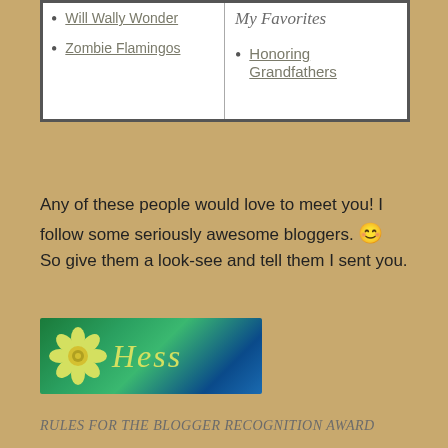Will Wally Wonder
Zombie Flamingos
My Favorites
Honoring Grandfathers
Any of these people would love to meet you!  I follow some seriously awesome bloggers. 😊 So give them a look-see and tell them I sent you.
[Figure (logo): Colorful blue-green banner with a yellow flower and cursive script text reading 'Hess']
RULES FOR THE BLOGGER RECOGNITION AWARD